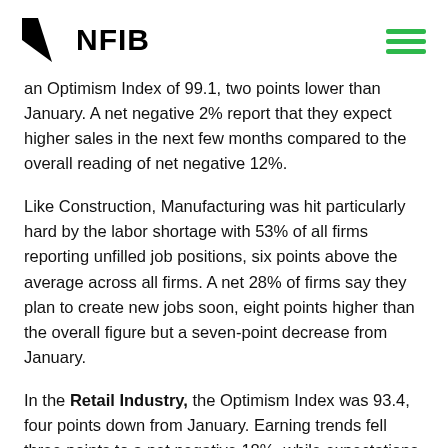[Figure (logo): NFIB logo with black arrow/flag icon and bold NFIB text, plus green hamburger menu icon in top right]
an Optimism Index of 99.1, two points lower than January. A net negative 2% report that they expect higher sales in the next few months compared to the overall reading of net negative 12%.
Like Construction, Manufacturing was hit particularly hard by the labor shortage with 53% of all firms reporting unfilled job positions, six points above the average across all firms. A net 28% of firms say they plan to create new jobs soon, eight points higher than the overall figure but a seven-point decrease from January.
In the Retail Industry, the Optimism Index was 93.4, four points down from January. Earning trends fell three points to a net negative 18%, while expectations for